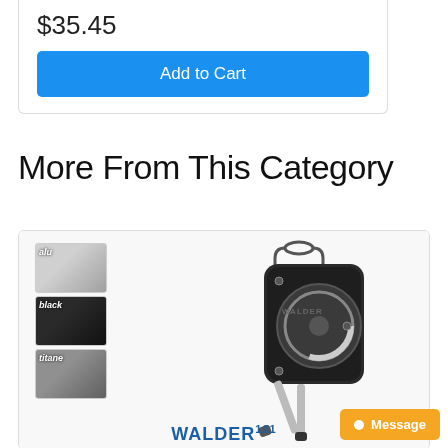$35.45
Add to Cart
More From This Category
[Figure (photo): Product image of a Walder 101 sailing block/pulley with color swatch options (alu, black, titane) shown on the left side. The main image shows the black pulley with a rope sheave, carabiner hook, and metal arm handle.]